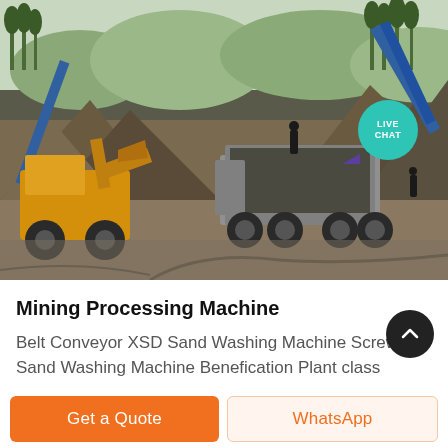[Figure (photo): Aerial view of a mining/quarry processing site with large dump trucks, front-end loaders, conveyor belts, and piles of aggregate material. Mountains and trees visible in background. A 'LIVE CHAT' badge is overlaid in the upper right area of the photo.]
Mining Processing Machine
Belt Conveyor XSD Sand Washing Machine Screw Sand Washing Machine Benefication Plant class
Get a Quote
WhatsApp